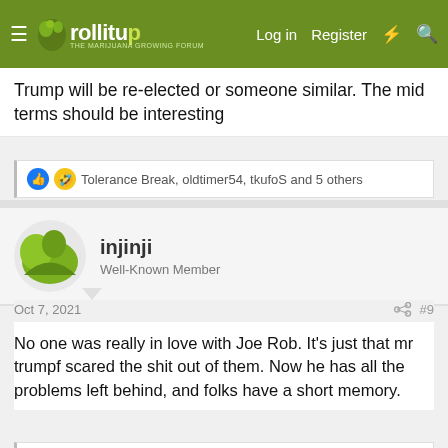rollitup — Log in  Register
Trump will be re-elected or someone similar. The mid terms should be interesting
Tolerance Break, oldtimer54, tkufoS and 5 others
injinji
Well-Known Member
Oct 7, 2021  #9
No one was really in love with Joe Rob. It's just that mr trumpf scared the shit out of them. Now he has all the problems left behind, and folks have a short memory.
schuylaar, Zpaton001, Paul Drake and 2 others
injinji
Well-Known Member